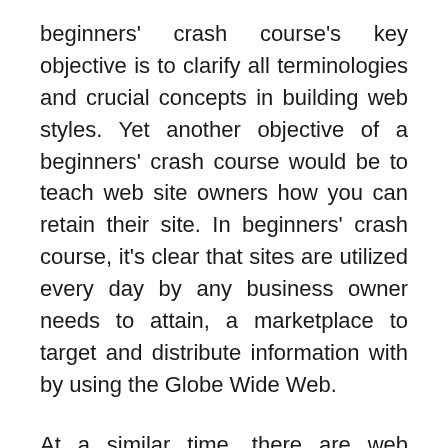beginners' crash course's key objective is to clarify all terminologies and crucial concepts in building web styles. Yet another objective of a beginners' crash course would be to teach web site owners how you can retain their site. In beginners' crash course, it's clear that sites are utilized every day by any business owner needs to attain, a marketplace to target and distribute information with by using the Globe Wide Web.
At a similar time, there are web hosting companies that provide their clients and future consumers a free Web Design software program that will help their customers to